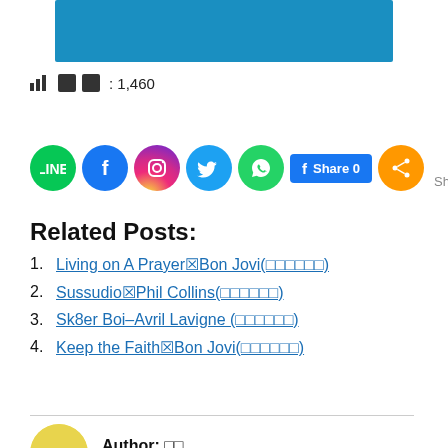[Figure (other): Blue banner image at top]
📊 🗖🗖: 1,460
[Figure (other): Social share icons row: LINE, Facebook, Instagram, Twitter, WhatsApp, Facebook Share 0, orange share button, 0 Shares]
Related Posts:
1. Living on A Prayer✖Bon Jovi(□□□□□□)
2. Sussudio✖Phil Collins(□□□□□□)
3. Sk8er Boi–Avril Lavigne (□□□□□□)
4. Keep the Faith✖Bon Jovi(□□□□□□)
Author: □□